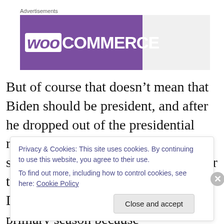[Figure (other): WooCommerce advertisement banner with purple background and logo]
But of course that doesn't mean that Biden should be president, and after he dropped out of the presidential race in 1988 due to the plagiarism scandal and after he dropped out after the very first contest of the 2008 Democratic Party presidential primary season because
Privacy & Cookies: This site uses cookies. By continuing to use this website, you agree to their use.
To find out more, including how to control cookies, see here: Cookie Policy
Close and accept